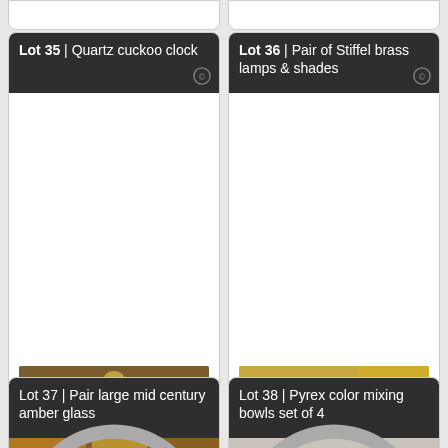[Figure (photo): Partial view of two lot cards cut off at top of page]
Lot 35 | Quartz cuckoo clock
[Figure (photo): Quartz cuckoo clock with carved wooden leaf and bird decorations, dark clock face]
Price Realized: 7.00 USD
Lot 36 | Pair of Stiffel brass lamps & shades
[Figure (photo): Pair of Stiffel brass table lamps with beige shades on a wood side table]
Price Realized: 8.00 USD
Lot 37 | Pair large mid century amber glass
Lot 38 | Pyrex color mixing bowls set of 4